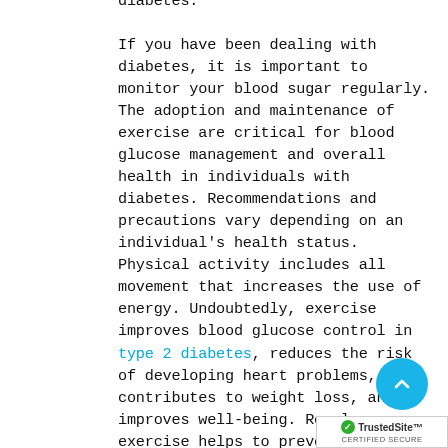diabetes. If you have been dealing with diabetes, it is important to monitor your blood sugar regularly. The adoption and maintenance of exercise are critical for blood glucose management and overall health in individuals with diabetes. Recommendations and precautions vary depending on an individual's health status. Physical activity includes all movement that increases the use of energy. Undoubtedly, exercise improves blood glucose control in type 2 diabetes, reduces the risk of developing heart problems, contributes to weight loss, and improves well-being. Regular exercise helps to prevent or delay type 2 diabetes development. Also, regular physical activity has considerable health benefits for pe